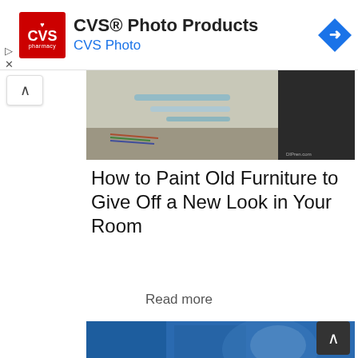[Figure (screenshot): CVS Photo Products advertisement banner with CVS Pharmacy logo, text 'CVS® Photo Products' and 'CVS Photo', and a blue diamond navigation arrow icon on the right]
[Figure (photo): Top portion of an article image showing painting supplies on a table including paint tubes and tools, with a dark background on the right]
How to Paint Old Furniture to Give Off a New Look in Your Room
Read more
[Figure (photo): Bottom article thumbnail showing a blue painted chair or furniture piece being painted, with a white painted element visible]